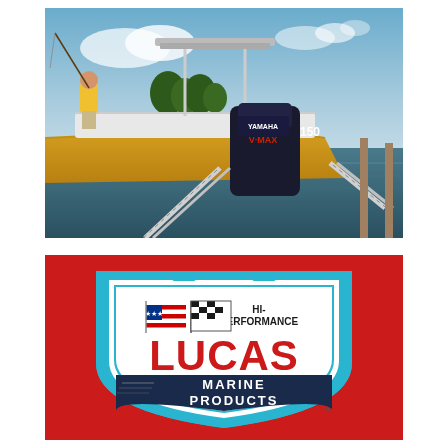[Figure (photo): A person in a yellow shirt fishing from the back of a yellow fishing boat docked at a marina. A large Yamaha V-MAX 150 outboard motor is prominently visible on the stern. White boat lift rails extend into the water on either side.]
[Figure (logo): Lucas Marine Products logo on a red background. A shield shape in light blue and white contains the text: HI-PERFORMANCE at the top with an American flag and checkered racing flag, LUCAS in large red letters, and MARINE PRODUCTS in white text on a dark blue banner at the bottom.]